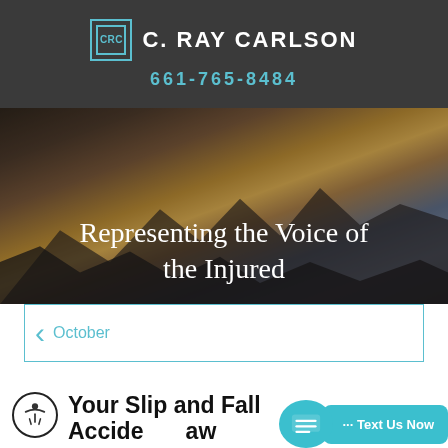C. RAY CARLSON | 661-765-8484
[Figure (photo): Aerial landscape photo of a city at sunset with mountains in the background, warm golden sky.]
Representing the Voice of the Injured
October
Your Slip and Fall Accident Law...